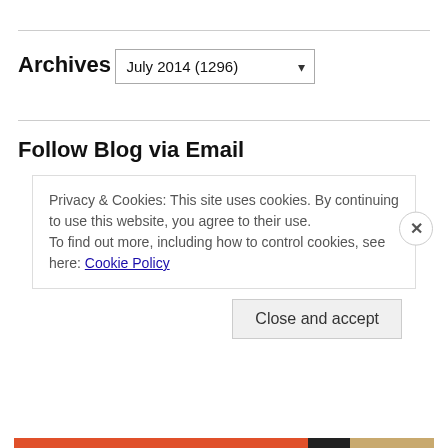Archives
July 2014  (1296)
Follow Blog via Email
Privacy & Cookies: This site uses cookies. By continuing to use this website, you agree to their use.
To find out more, including how to control cookies, see here: Cookie Policy
Close and accept